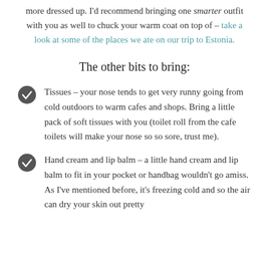more dressed up. I'd recommend bringing one smarter outfit with you as well to chuck your warm coat on top of – take a look at some of the places we ate on our trip to Estonia.
The other bits to bring:
Tissues – your nose tends to get very runny going from cold outdoors to warm cafes and shops. Bring a little pack of soft tissues with you (toilet roll from the cafe toilets will make your nose so so sore, trust me).
Hand cream and lip balm – a little hand cream and lip balm to fit in your pocket or handbag wouldn't go amiss. As I've mentioned before, it's freezing cold and so the air can dry your skin out pretty